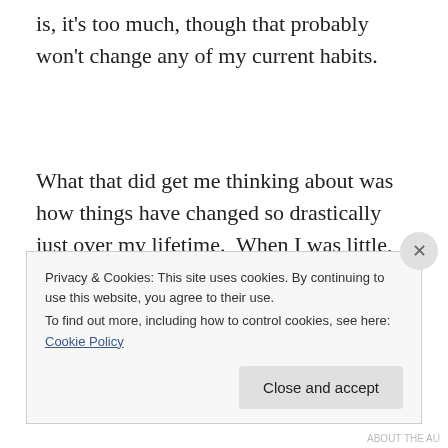is, it's too much, though that probably won't change any of my current habits.
What that did get me thinking about was how things have changed so drastically just over my lifetime.  When I was little, we had one TV in the house, and that was it.  We didn't even have a wireless phone.  We didn't get our first computer until I was in 7th grade, and I didn't get my first
Privacy & Cookies: This site uses cookies. By continuing to use this website, you agree to their use.
To find out more, including how to control cookies, see here: Cookie Policy
Close and accept
ABOUT THE AU